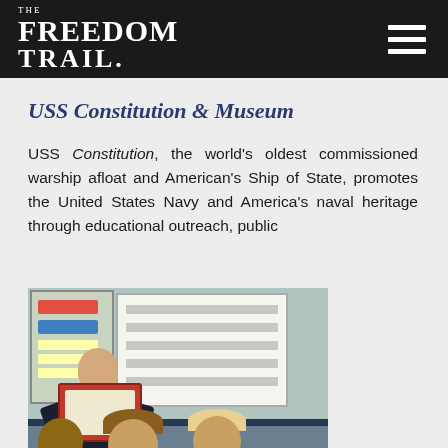The Freedom Trail
USS Constitution & Museum
USS Constitution, the world's oldest commissioned warship afloat and American's Ship of State, promotes the United States Navy and America's naval heritage through educational outreach, public
[Figure (photo): A Navy sailor in uniform reading a book to a group of young children in a classroom setting. A whiteboard with handwritten text is visible in the background along with classroom bulletin boards.]